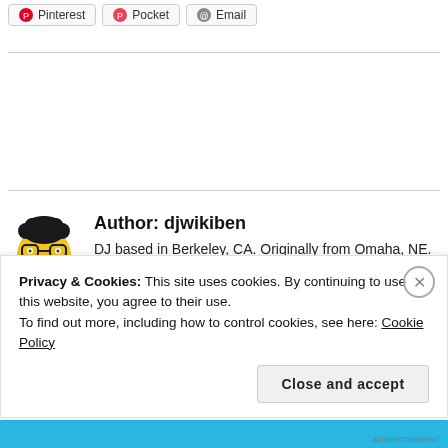[Figure (other): Share buttons row: Pinterest (red circle icon), Pocket (red circle icon), Email (grey envelope icon), all with rounded rectangle borders]
Author: djwikiben
DJ based in Berkeley, CA. Originally from Omaha, NE. Lived in Madison, WI for a while. Musical omnivore interested in electronic, garage, britpop, indie rock, hip-hop, funk and soul,
Privacy & Cookies: This site uses cookies. By continuing to use this website, you agree to their use.
To find out more, including how to control cookies, see here: Cookie Policy
Close and accept